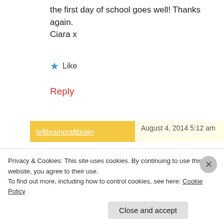the first day of school goes well! Thanks again.
Ciara x
★ Like
Reply
leftbraincraftbrain   August 4, 2014 5:12 am
[Figure (photo): Avatar photo of two people (adult and child) sitting at a table, appearing to work on something together.]
What a great list of advice. My daughter is a little anxious about starting at a new school in a few weeks and some of this advice should help. Thanks for
Privacy & Cookies: This site uses cookies. By continuing to use this website, you agree to their use.
To find out more, including how to control cookies, see here: Cookie Policy
Close and accept